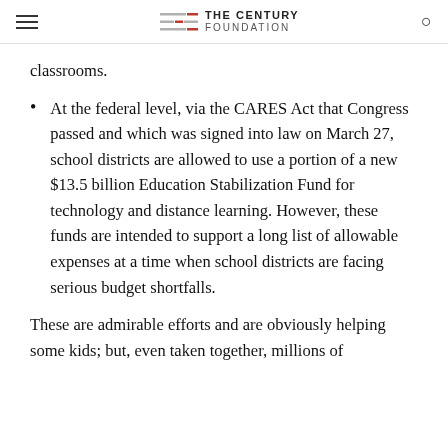THE CENTURY FOUNDATION
classrooms.
At the federal level, via the CARES Act that Congress passed and which was signed into law on March 27, school districts are allowed to use a portion of a new $13.5 billion Education Stabilization Fund for technology and distance learning. However, these funds are intended to support a long list of allowable expenses at a time when school districts are facing serious budget shortfalls.
These are admirable efforts and are obviously helping some kids; but, even taken together, millions of